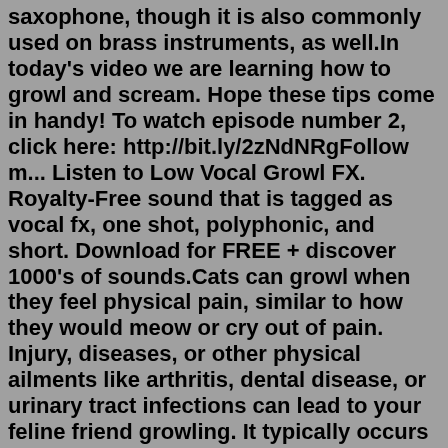saxophone, though it is also commonly used on brass instruments, as well.In today's video we are learning how to growl and scream. Hope these tips come in handy! To watch episode number 2, click here: http://bit.ly/2zNdNRgFollow m... Listen to Low Vocal Growl FX. Royalty-Free sound that is tagged as vocal fx, one shot, polyphonic, and short. Download for FREE + discover 1000's of sounds.Cats can growl when they feel physical pain, similar to how they would meow or cry out of pain. Injury, diseases, or other physical ailments like arthritis, dental disease, or urinary tract infections can lead to your feline friend growling. It typically occurs when someone is trying to touch your kitty where it hurts.You'll probably get a different sound from performing for a condenser and gargling on a dynamic mic. For "growling effects," you can use certain types of AM to add "grit" and roughness to a vocal track. Top. pinkwarrior235. Sat Jan 24, 2015 2:29 am.A death growl, or simply growl, is a vocal style (an extended vocal technique) usually employed by death metal